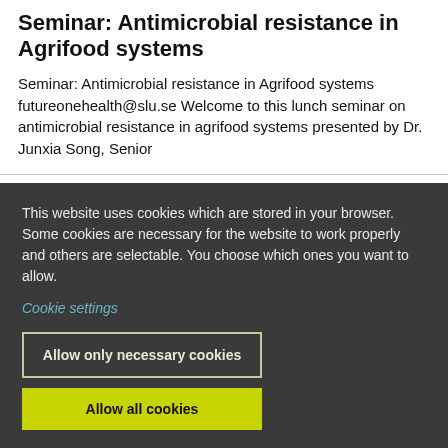Seminar: Antimicrobial resistance in Agrifood systems
Seminar: Antimicrobial resistance in Agrifood systems futureonehealth@slu.se Welcome to this lunch seminar on antimicrobial resistance in agrifood systems presented by Dr. Junxia Song, Senior
This website uses cookies which are stored in your browser. Some cookies are necessary for the website to work properly and others are selectable. You choose which ones you want to allow.
Cookie settings
Allow only necessary cookies
Allow all cookies